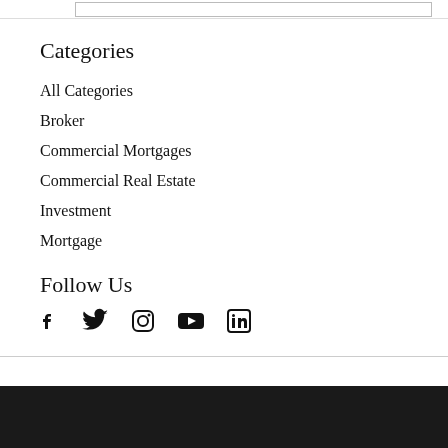Categories
All Categories
Broker
Commercial Mortgages
Commercial Real Estate
Investment
Mortgage
Follow Us
[Figure (infographic): Social media icons: Facebook, Twitter, Instagram, YouTube, LinkedIn]